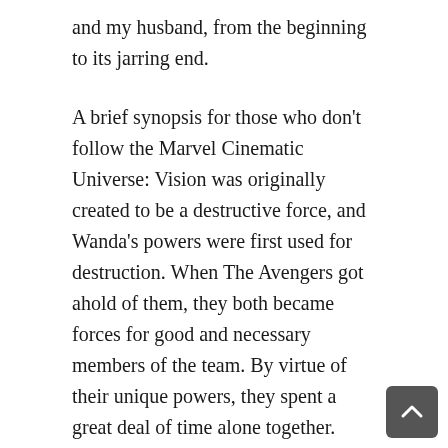and my husband, from the beginning to its jarring end.
A brief synopsis for those who don't follow the Marvel Cinematic Universe: Vision was originally created to be a destructive force, and Wanda's powers were first used for destruction. When The Avengers got ahold of them, they both became forces for good and necessary members of the team. By virtue of their unique powers, they spent a great deal of time alone together. Their relationship eventually evolved into a loving one, such that they tried planning a future together. But like all superhero movies, there was a villain who could have cared less about what anyone else wanted. The villain eventually caused Vision's death